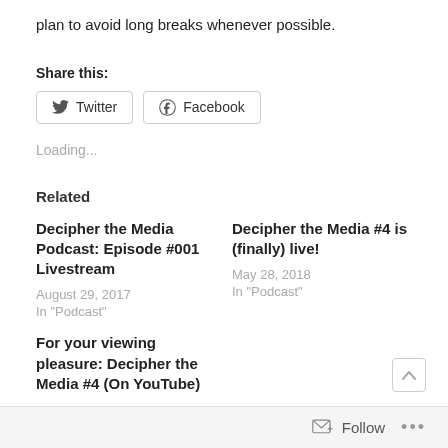plan to avoid long breaks whenever possible.
Share this:
[Figure (other): Share buttons for Twitter and Facebook]
Loading...
Related
Decipher the Media Podcast: Episode #001 Livestream
August 29, 2017
In "Podcast"
Decipher the Media #4 is (finally) live!
May 28, 2018
In "Podcast"
For your viewing pleasure: Decipher the Media #4 (On YouTube)
Follow ...